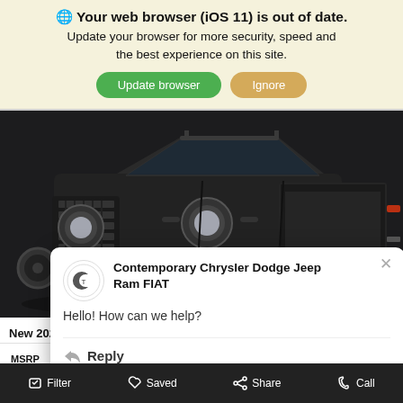🌐 Your web browser (iOS 11) is out of date. Update your browser for more security, speed and the best experience on this site.
Update browser | Ignore
[Figure (photo): Black Jeep Gladiator truck viewed from front-left angle against dark background]
Contemporary Chrysler Dodge Jeep Ram FIAT
Hello! How can we help?
Reply
New 2022 Je
MSRP $54,910
Filter   Saved   Share   Call